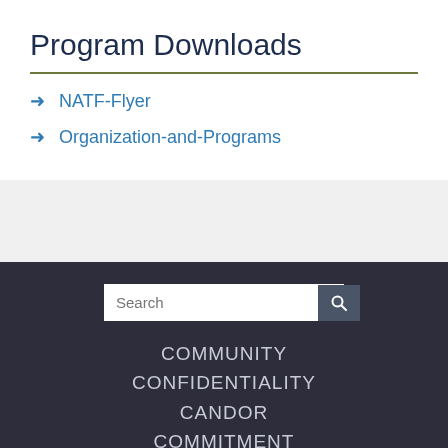Program Downloads
NATF-Flyer
Organization-and-Programs
Search
COMMUNITY
CONFIDENTIALITY
CANDOR
COMMITMENT